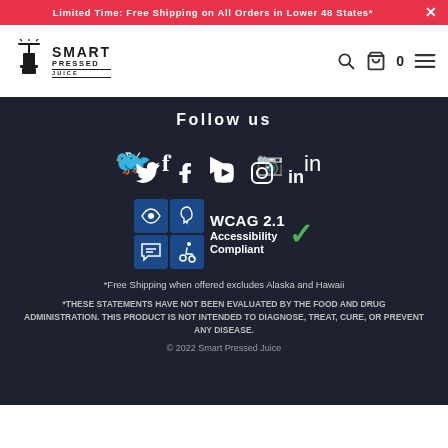Limited Time: Free Shipping on All Orders in Lower 48 States*
[Figure (logo): Smart Pressed Juice logo with juice press icon]
Follow us
[Figure (infographic): Social media icons: Twitter, Facebook, YouTube, Instagram, LinkedIn]
[Figure (infographic): WCAG 2.1 Accessibility Compliant badge with checkmark]
*Free Shipping when offered excludes Alaska and Hawaii
*THESE STATEMENTS HAVE NOT BEEN EVALUATED BY THE FOOD AND DRUG ADMINISTRATION. THIS PRODUCT IS NOT INTENDED TO DIAGNOSE, TREAT, CURE, OR PREVENT ANY DISEASE.
© 2022 Smart Pressed Juice